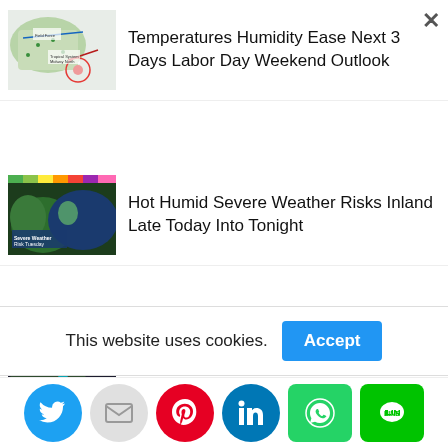[Figure (screenshot): Weather map showing eastern US with tropical system and fronts]
Temperatures Humidity Ease Next 3 Days Labor Day Weekend Outlook
[Figure (screenshot): Satellite/radar image showing severe weather risk coastal area Tuesday]
Hot Humid Severe Weather Risks Inland Late Today Into Tonight
[Figure (screenshot): Radar/satellite map with precipitation]
Hot Humid Late T'Storms Tuesday Less
This website uses cookies.
Accept
Social sharing icons: Twitter, Email, Pinterest, LinkedIn, WhatsApp, Line